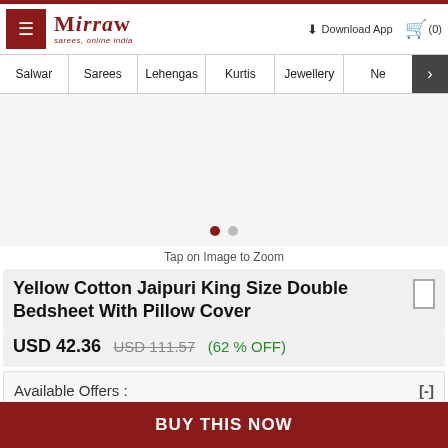[Figure (screenshot): Mirraw website header with hamburger menu, logo, Download App link, and cart icon showing (0)]
Mirraw | Sarees, online India | Download App | (0)
Salwar
Sarees
Lehengas
Kurtis
Jewellery
Ne
[Figure (photo): Product image area for Yellow Cotton Jaipuri King Size Double Bedsheet, shown as blank/loading with carousel dots]
Tap on Image to Zoom
Yellow Cotton Jaipuri King Size Double Bedsheet With Pillow Cover
USD 42.36  USD 111.57  (62 % OFF)
Available Offers :
BUY THIS NOW